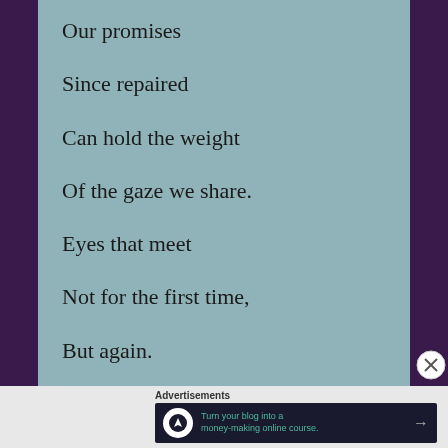Our promises
Since repaired
Can hold the weight
Of the gaze we share.
Eyes that meet
Not for the first time,
But again.
Advertisements
[Figure (other): Dark advertisement banner: 'Turn your blog into a money-making online course.' with arrow and Teachable logo icon.]